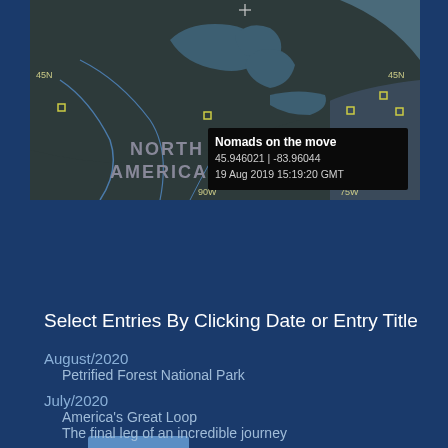[Figure (map): Dark-themed map of North America showing Great Lakes region with tooltip: 'Nomads on the move', coordinates 45.946021 | -83.96044, 19 Aug 2019 15:19:20 GMT. Latitude line 45N visible, longitude markers 90W and 75W. Yellow square markers scattered across map.]
View Tracking
Select Entries By Clicking Date or Entry Title
August/2020
Petrified Forest National Park
July/2020
America's Great Loop
The final leg of an incredible journey